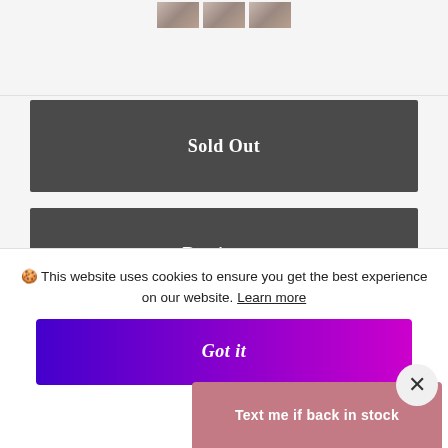[Figure (photo): Three small thumbnail images of a product, partially visible at the top of the page]
Sold Out
Buy it now
EMAIL WHEN AVAILABLE
🍪 This website uses cookies to ensure you get the best experience on our website. Learn more
Got it
Text me if back in stock